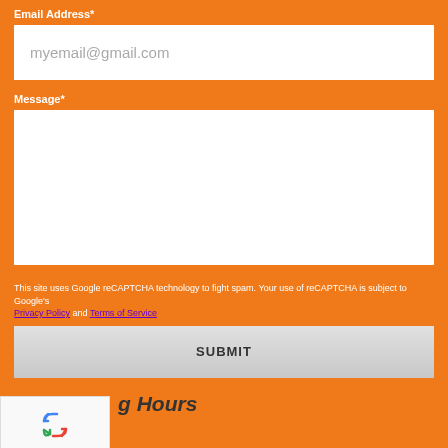Email Address*
myemail@gmail.com
Message*
This site uses Google reCAPTCHA technology to fight spam. Your use of reCAPTCHA is subject to Google's Privacy Policy and Terms of Service
SUBMIT
[Figure (logo): Google reCAPTCHA widget with recycling arrows logo, Privacy and Terms links]
g Hours
49AM - 49PM 7 days a week